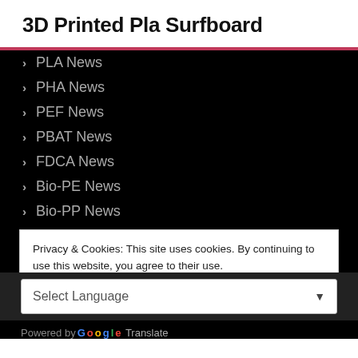3D Printed Pla Surfboard
PLA News
PHA News
PEF News
PBAT News
FDCA News
Bio-PE News
Bio-PP News
Bio-PA News
Bio-PU News
Privacy & Cookies: This site uses cookies. By continuing to use this website, you agree to their use.
To find out more, including how to control cookies, see here: Cookie Policy
Close and accept
Select Language
Powered by Google Translate